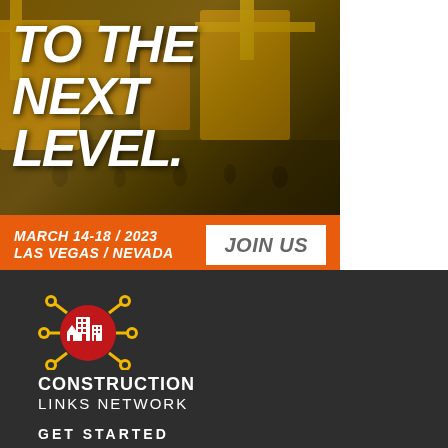[Figure (illustration): Construction machinery exhibition hall background image with yellow equipment, overlaid with bold white italic headline text 'TO THE NEXT LEVEL.' on a dark-tinted background. Below is an orange bar with event date 'MARCH 14-18 / 2023 / LAS VEGAS / NEVADA' and a white 'JOIN US' button.]
TO THE NEXT LEVEL.
MARCH 14-18 / 2023
LAS VEGAS / NEVADA
JOIN US
[Figure (logo): Construction Links Network logo: red circle with white building/city icons in center, surrounded by yellow hexagonal connector nodes on arms, on dark background.]
CONSTRUCTION
LINKS NETWORK
GET STARTED